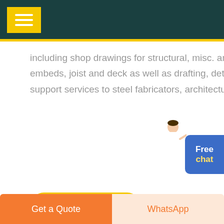including shop drawings for structural, misc. and architectural steel, embeds, joist and deck as well as drafting, detailing and fabrication support services to steel fabricators, architectural ...
[Figure (illustration): Customer service representative figure with Free chat blue button widget]
[Figure (photo): GET PRICE yellow rounded button]
[Figure (photo): Three industrial/steel product photos in a row: steel coils, industrial equipment with mountains, structural steel connections]
Get a Quote | WhatsApp